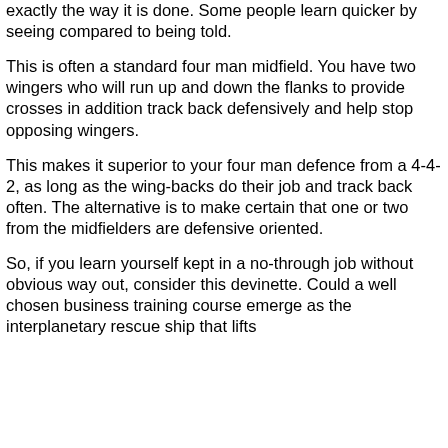exactly the way it is done. Some people learn quicker by seeing compared to being told.
This is often a standard four man midfield. You have two wingers who will run up and down the flanks to provide crosses in addition track back defensively and help stop opposing wingers.
This makes it superior to your four man defence from a 4-4-2, as long as the wing-backs do their job and track back often. The alternative is to make certain that one or two from the midfielders are defensive oriented.
So, if you learn yourself kept in a no-through job without obvious way out, consider this devinette. Could a well chosen business training course emerge as the interplanetary rescue ship that lifts